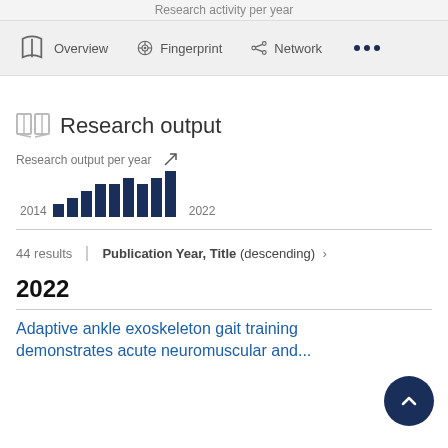Research activity per year
Overview   Fingerprint   Network   ...
Research output
[Figure (bar-chart): Research output per year]
44 results   Publication Year, Title (descending) ›
2022
Adaptive ankle exoskeleton gait training demonstrates acute neuromuscular and...